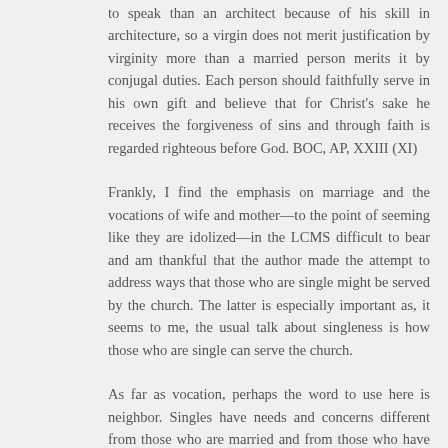to speak than an architect because of his skill in architecture, so a virgin does not merit justification by virginity more than a married person merits it by conjugal duties. Each person should faithfully serve in his own gift and believe that for Christ's sake he receives the forgiveness of sins and through faith is regarded righteous before God. BOC, AP, XXIII (XI)
Frankly, I find the emphasis on marriage and the vocations of wife and mother—to the point of seeming like they are idolized—in the LCMS difficult to bear and am thankful that the author made the attempt to address ways that those who are single might be served by the church. The latter is especially important as, it seems to me, the usual talk about singleness is how those who are single can serve the church.
As far as vocation, perhaps the word to use here is neighbor. Singles have needs and concerns different from those who are married and from those who have children. Understanding those